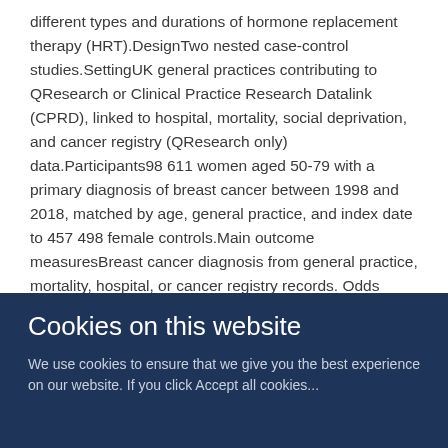different types and durations of hormone replacement therapy (HRT).DesignTwo nested case-control studies.SettingUK general practices contributing to QResearch or Clinical Practice Research Datalink (CPRD), linked to hospital, mortality, social deprivation, and cancer registry (QResearch only) data.Participants98 611 women aged 50-79 with a primary diagnosis of breast cancer between 1998 and 2018, matched by age, general practice, and index date to 457 498 female controls.Main outcome measuresBreast cancer diagnosis from general practice, mortality, hospital, or cancer registry records. Odds ratios for HRT types, adjusted for personal characteristics, smoking status, alcohol consumption, comorbidities, family history, and other prescribed drugs. Separate results from QResearch or CPRD were combined.ResultsOverall, 33 703 (34%) women with a diagnosis of breast cancer and 136 224 (34%) matched controls
Cookies on this website
We use cookies to ensure that we give you the best experience on our website. If you click Accept all cookies...